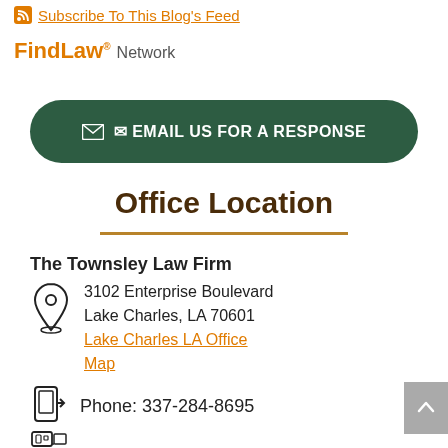Subscribe To This Blog's Feed
[Figure (logo): FindLaw. Network logo]
EMAIL US FOR A RESPONSE
Office Location
The Townsley Law Firm
3102 Enterprise Boulevard
Lake Charles, LA 70601
Lake Charles LA Office Map
Phone: 337-284-8695